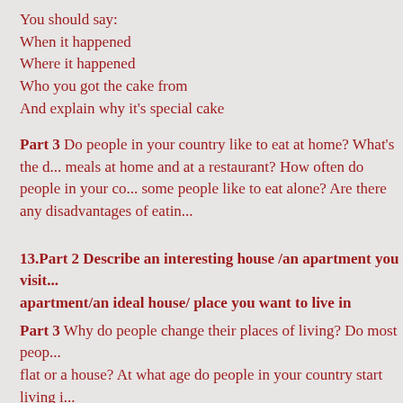You should say:
When it happened
Where it happened
Who you got the cake from
And explain why it's special cake
Part 3 Do people in your country like to eat at home? What's the difference between meals at home and at a restaurant? How often do people in your country eat out? Why do some people like to eat alone? Are there any disadvantages of eating alone?
13.Part 2 Describe an interesting house /an apartment you visited/ a rented apartment/an ideal house/ place you want to live in
Part 3 Why do people change their places of living? Do most people prefer to live in a flat or a house? At what age do people in your country start living independently? Do people in your country mostly buy their own home or do they rent? Do you think the design of a home is important? What makes a location suitable for families? What makes a location suitable for young people to live? In what ways c...